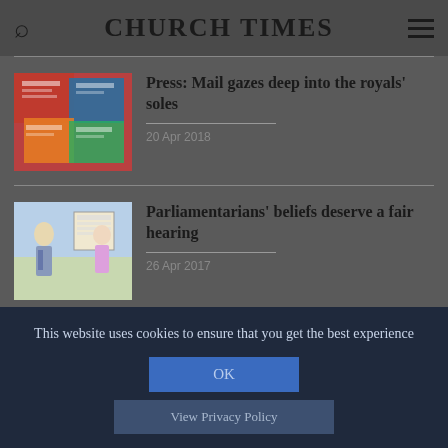CHURCH TIMES
[Figure (photo): Stack of colorful newspapers]
Press: Mail gazes deep into the royals' soles
20 Apr 2018
[Figure (illustration): Cartoon illustration of parliamentarians]
Parliamentarians' beliefs deserve a fair hearing
26 Apr 2017
This website uses cookies to ensure that you get the best experience
OK
View Privacy Policy